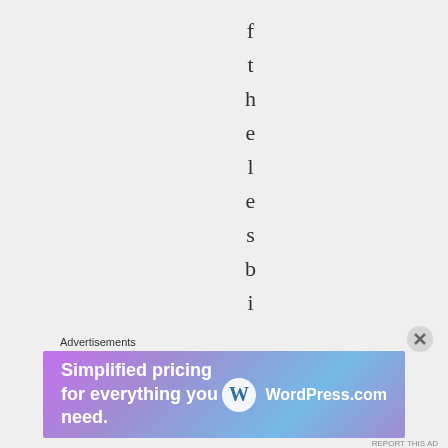fthelesbinanar
Advertisements
[Figure (screenshot): WordPress.com advertisement banner: 'Simplified pricing for everything you need.' with WordPress.com logo on gradient pink-purple-blue background]
REPORT THIS AD